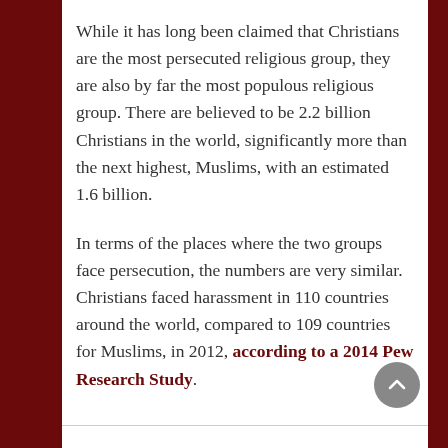While it has long been claimed that Christians are the most persecuted religious group, they are also by far the most populous religious group. There are believed to be 2.2 billion Christians in the world, significantly more than the next highest, Muslims, with an estimated 1.6 billion.
In terms of the places where the two groups face persecution, the numbers are very similar. Christians faced harassment in 110 countries around the world, compared to 109 countries for Muslims, in 2012, according to a 2014 Pew Research Study.